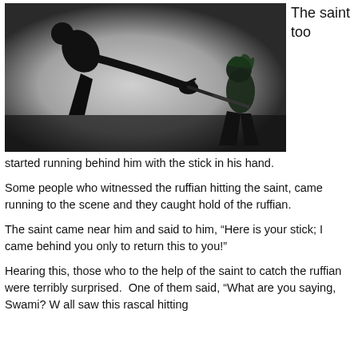[Figure (photo): Silhouette of a person bending forward with a stick toward another figure in dark, dramatic lighting]
The saint too
started running behind him with the stick in his hand.
Some people who witnessed the ruffian hitting the saint, came running to the scene and they caught hold of the ruffian.
The saint came near him and said to him, “Here is your stick; I came behind you only to return this to you!”
Hearing this, those who to the help of the saint to catch the ruffian were terribly surprised.  One of them said, “What are you saying, Swami? W all saw this rascal hitting